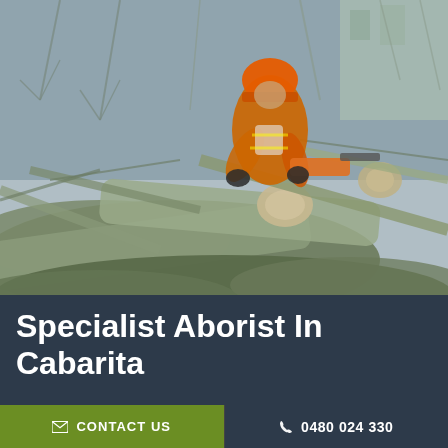[Figure (photo): An arborist wearing an orange hard hat and high-visibility vest using a chainsaw to cut through fallen tree branches and logs in a wooded area.]
Specialist Aborist In Cabarita
Looking for comprehensive top-notch tree
CONTACT US
0480 024 330